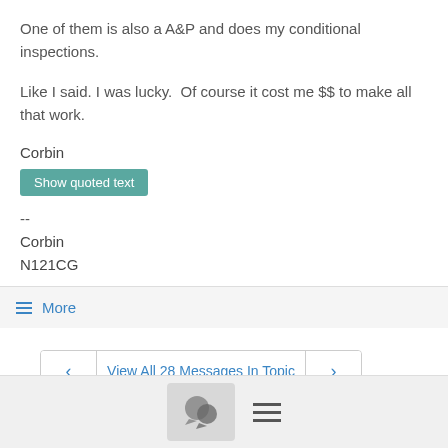One of them is also a A&P and does my conditional inspections.
Like I said. I was lucky.  Of course it cost me $$ to make all that work.
Corbin
Show quoted text
--
Corbin
N121CG
≡ More
View All 28 Messages In Topic
[Figure (screenshot): Bottom navigation bar with chat bubble icon and hamburger menu icon]